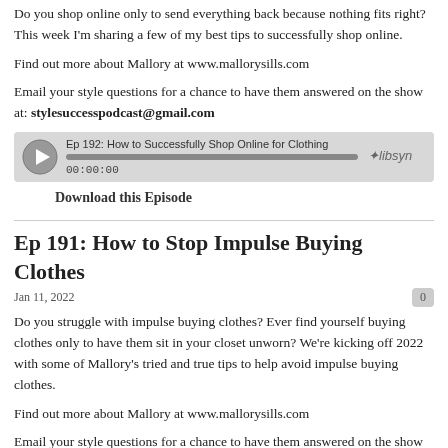Do you shop online only to send everything back because nothing fits right? This week I'm sharing a few of my best tips to successfully shop online.
Find out more about Mallory at www.mallorysills.com
Email your style questions for a chance to have them answered on the show at: stylesuccesspodcast@gmail.com
[Figure (other): Podcast audio player widget for Ep 192: How to Successfully Shop Online for Clothing, showing play button, progress bar at 00:00:00, and libsyn logo]
Download this Episode
Ep 191: How to Stop Impulse Buying Clothes
Jan 11, 2022
Do you struggle with impulse buying clothes? Ever find yourself buying clothes only to have them sit in your closet unworn? We're kicking off 2022 with some of Mallory's tried and true tips to help avoid impulse buying clothes.
Find out more about Mallory at www.mallorysills.com
Email your style questions for a chance to have them answered on the show at: stylesuccesspodcast@gmail.com
[Figure (other): Podcast audio player widget for Ep 191: How to Stop Impulse Buying Clothes (partially visible at bottom)]